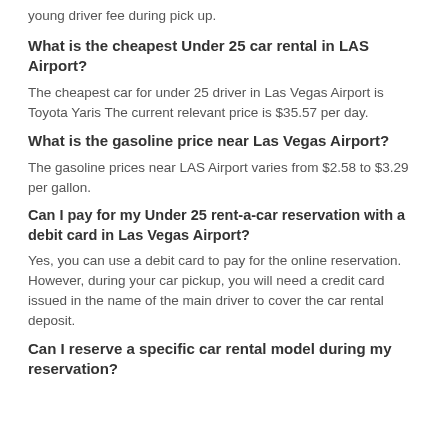young driver fee during pick up.
What is the cheapest Under 25 car rental in LAS Airport?
The cheapest car for under 25 driver in Las Vegas Airport is Toyota Yaris The current relevant price is $35.57 per day.
What is the gasoline price near Las Vegas Airport?
The gasoline prices near LAS Airport varies from $2.58 to $3.29 per gallon.
Can I pay for my Under 25 rent-a-car reservation with a debit card in Las Vegas Airport?
Yes, you can use a debit card to pay for the online reservation. However, during your car pickup, you will need a credit card issued in the name of the main driver to cover the car rental deposit.
Can I reserve a specific car rental model during my reservation?